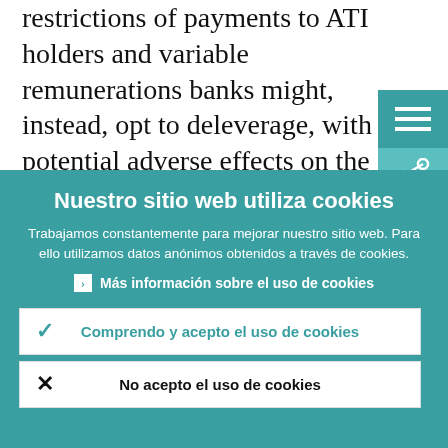restrictions of payments to ATI holders and variable remunerations banks might, instead, opt to deleverage, with potential adverse effects on the recovery. Although I acknowledge that the automatic rules for
[Figure (screenshot): Teal/turquoise hamburger menu icon button in top right corner]
[Figure (screenshot): Teal/turquoise share icon button below menu icon in top right corner]
Nuestro sitio web utiliza cookies
Trabajamos constantemente para mejorar nuestro sitio web. Para ello utilizamos datos anónimos obtenidos a través de cookies.
Más información sobre el uso de cookies
Comprendo y acepto el uso de cookies
No acepto el uso de cookies